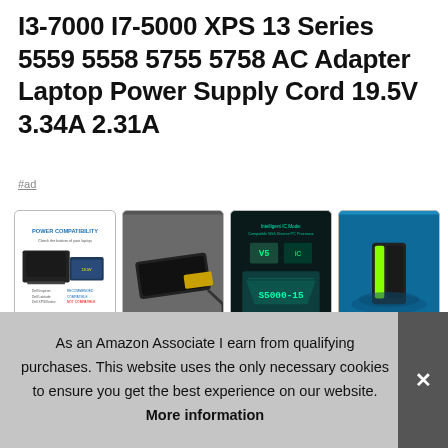I3-7000 I7-5000 XPS 13 Series 5559 5558 5755 5758 AC Adapter Laptop Power Supply Cord 19.5V 3.34A 2.31A
#ad
[Figure (photo): Four product thumbnail images showing an AC laptop power adapter: (1) power compatibility chart with laptop, (2) side view of adapter, (3) green-on-dark chip/smart IC diagram, (4) blue glowing adapter 'low loss and high efficiency']
MACIDEA Wide range compatible power supply, input ac1... It's p... Exte... worry the wall plug is hard to reach. Reference compatible
As an Amazon Associate I earn from qualifying purchases. This website uses the only necessary cookies to ensure you get the best experience on our website. More information